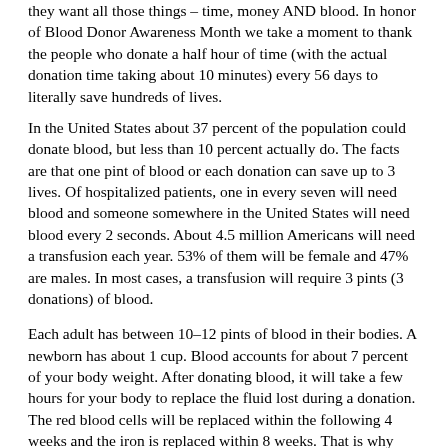they want all those things – time, money AND blood. In honor of Blood Donor Awareness Month we take a moment to thank the people who donate a half hour of time (with the actual donation time taking about 10 minutes) every 56 days to literally save hundreds of lives.
In the United States about 37 percent of the population could donate blood, but less than 10 percent actually do. The facts are that one pint of blood or each donation can save up to 3 lives. Of hospitalized patients, one in every seven will need blood and someone somewhere in the United States will need blood every 2 seconds. About 4.5 million Americans will need a transfusion each year. 53% of them will be female and 47% are males. In most cases, a transfusion will require 3 pints (3 donations) of blood.
Each adult has between 10–12 pints of blood in their bodies. A newborn has about 1 cup. Blood accounts for about 7 percent of your body weight. After donating blood, it will take a few hours for your body to replace the fluid lost during a donation. The red blood cells will be replaced within the following 4 weeks and the iron is replaced within 8 weeks. That is why you can donate blood every 56 days. The other requirements are that you are at least 17 years old and weigh more than 110 pounds.
There are 4 main red blood cell types: A, B, AB and O. Each type of blood will also have either a positive or negative RH factor. AB is